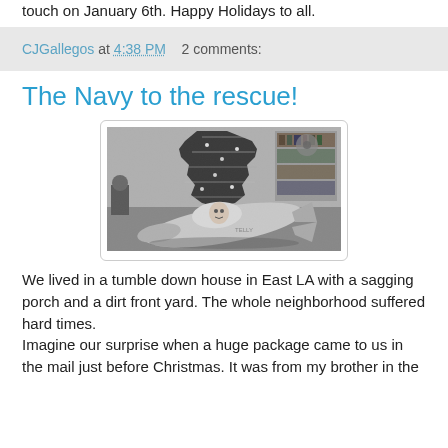touch on January 6th. Happy Holidays to all.
CJGallegos at 4:38 PM   2 comments:
The Navy to the rescue!
[Figure (photo): Black and white vintage photo of a child sitting inside a large toy submarine/rocket, in front of a Christmas tree with ornaments and tinsel. Bookshelves visible in background.]
We lived in a tumble down house in East LA with a sagging porch and a dirt front yard. The whole neighborhood suffered hard times.
Imagine our surprise when a huge package came to us in the mail just before Christmas. It was from my brother in the